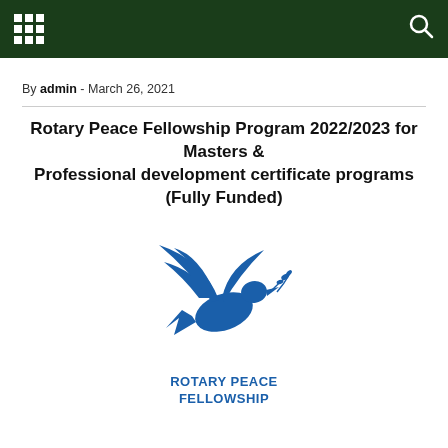Navigation bar with grid menu icon and search icon
By admin - March 26, 2021
Rotary Peace Fellowship Program 2022/2023 for Masters & Professional development certificate programs (Fully Funded)
[Figure (logo): Rotary Peace Fellowship logo: blue dove in flight with olive branch, text 'ROTARY PEACE FELLOWSHIP' below in blue]